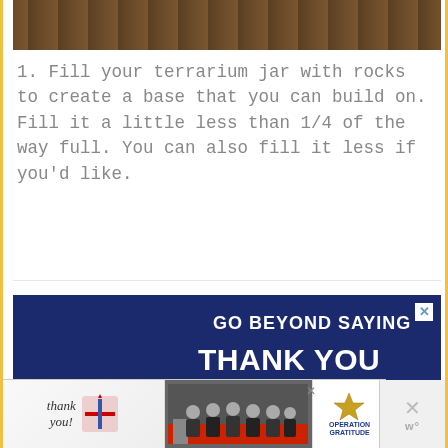[Figure (photo): Close-up photo of a wooden surface, dark brown wood grain texture visible at the top of the page]
1. Fill your terrarium jar with rocks to create a base that you can build on. Fill it a little less than 1/4 of the way full. You can also fill it less if you'd like.
[Figure (photo): Advertisement banner: 'GO BEYOND SAYING THANK YOU' with two people shaking hands, one in military/uniform clothing with a cap, the other a civilian woman, against a dark blue background with red and white wave design. Operation Gratitude ad.]
[Figure (photo): Bottom advertisement: 'Thank you!' handwritten text with American flag design on left, group photo of firefighters/first responders in middle, Operation Gratitude logo on right]